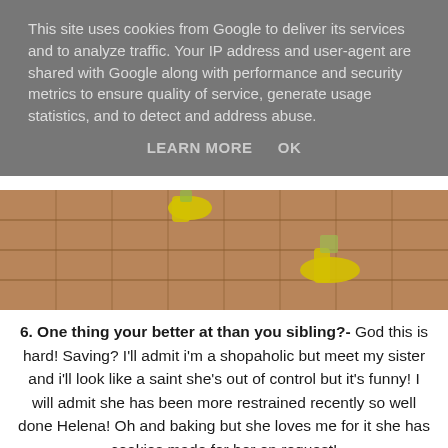This site uses cookies from Google to deliver its services and to analyze traffic. Your IP address and user-agent are shared with Google along with performance and security metrics to ensure quality of service, generate usage statistics, and to detect and address abuse.
LEARN MORE   OK
[Figure (photo): Close-up photo of brick/tile floor with yellow shoes visible — appears to be children's feet on pavement]
6. One thing your better at than you sibling?- God this is hard!  Saving? I'll admit i'm a shopaholic but meet my sister and i'll look like a saint she's out of control but it's funny! I will admit she has been more restrained recently so well done Helena! Oh and baking but she loves me for it she has cookies made for her on request!
7. One thing they are better at than you?- 100% has to be